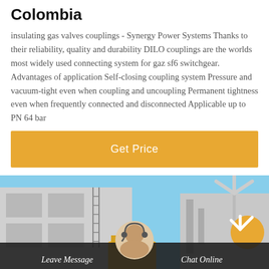Colombia
insulating gas valves couplings - Synergy Power Systems Thanks to their reliability, quality and durability DILO couplings are the worlds most widely used connecting system for gaz sf6 switchgear. Advantages of application Self-closing coupling system Pressure and vacuum-tight even when coupling and uncoupling Permanent tightness even when frequently connected and disconnected Applicable up to PN 64 bar
Get Price
[Figure (photo): Industrial building with wind turbines and electrical equipment in the background, with a customer service representative avatar at the bottom center.]
Leave Message   Chat Online